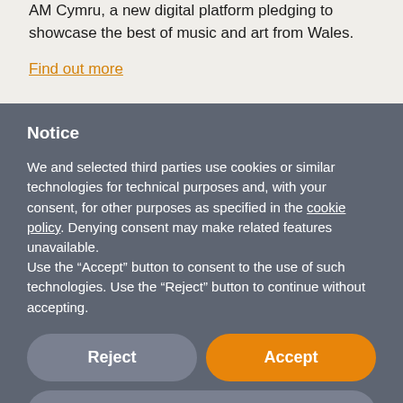AM Cymru, a new digital platform pledging to showcase the best of music and art from Wales.
Find out more
Notice
We and selected third parties use cookies or similar technologies for technical purposes and, with your consent, for other purposes as specified in the cookie policy. Denying consent may make related features unavailable.
Use the “Accept” button to consent to the use of such technologies. Use the “Reject” button to continue without accepting.
Reject
Accept
Learn more and customize